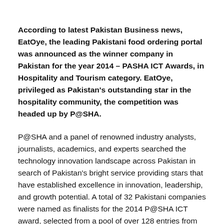According to latest Pakistan Business news, EatOye, the leading Pakistani food ordering portal was announced as the winner company in Pakistan for the year 2014 – PASHA ICT Awards, in Hospitality and Tourism category. EatOye, privileged as Pakistan's outstanding star in the hospitality community, the competition was headed up by P@SHA.
P@SHA and a panel of renowned industry analysts, journalists, academics, and experts searched the technology innovation landscape across Pakistan in search of Pakistan's bright service providing stars that have established excellence in innovation, leadership, and growth potential. A total of 32 Pakistani companies were named as finalists for the 2014 P@SHA ICT award, selected from a pool of over 128 entries from the technology and service sectors.